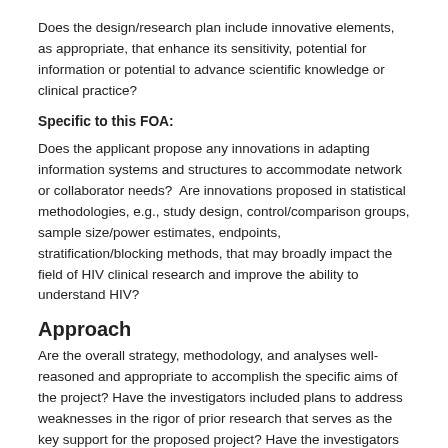Does the design/research plan include innovative elements, as appropriate, that enhance its sensitivity, potential for information or potential to advance scientific knowledge or clinical practice?
Specific to this FOA:
Does the applicant propose any innovations in adapting information systems and structures to accommodate network or collaborator needs?  Are innovations proposed in statistical methodologies, e.g., study design, control/comparison groups, sample size/power estimates, endpoints, stratification/blocking methods, that may broadly impact the field of HIV clinical research and improve the ability to understand HIV?
Approach
Are the overall strategy, methodology, and analyses well-reasoned and appropriate to accomplish the specific aims of the project? Have the investigators included plans to address weaknesses in the rigor of prior research that serves as the key support for the proposed project? Have the investigators presented strategies to ensure a robust and unbiased approach, as appropriate for the work proposed? Are potential problems, alternative strategies, and benchmarks for success presented? If the project is in the early stages of development, will the strategy